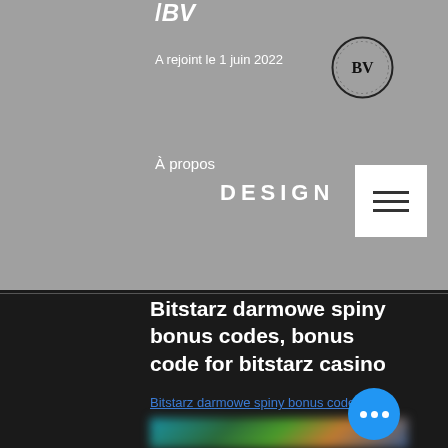A rejoint le 1 juin 2022
À propos
DESIGN
Bitstarz darmowe spiny bonus codes, bonus code for bitstarz casino
Bitstarz darmowe spiny bonus codes
[Figure (screenshot): Blurred screenshot of a casino website]